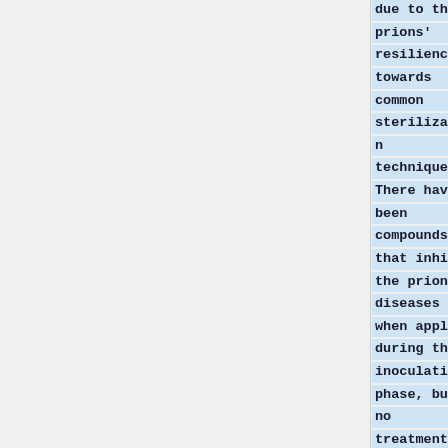due to the prions' resilience towards common sterilization techniques. There have been compounds that inhibit the prion diseases when applied during the inoculation phase, but no treatments have been effective